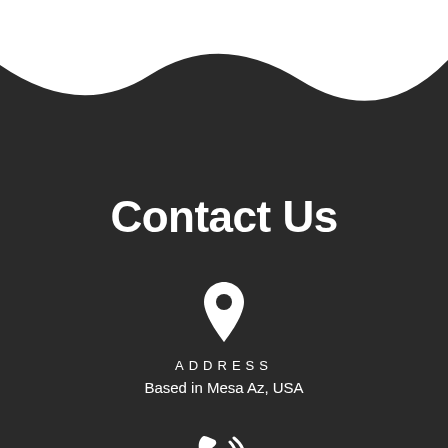[Figure (illustration): Dark background with white wave cutout at top, decorative design element]
Contact Us
[Figure (illustration): White map pin / location marker icon]
ADDRESS
Based in Mesa Az, USA
[Figure (illustration): White phone with sound waves icon]